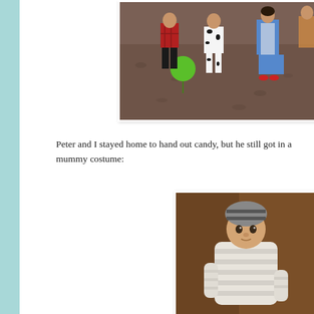[Figure (photo): Children in Halloween costumes standing on gravel. A child in a red plaid shirt, one in a dalmatian costume, one in a blue dress (Dorothy from Wizard of Oz), and others visible. A green balloon ball is on the ground.]
Peter and I stayed home to hand out candy, but he still got in a mummy costume:
[Figure (photo): A baby dressed in a mummy Halloween costume, wrapped in white bandages with a striped mummy hat, sitting in a brown couch/chair.]